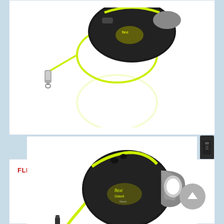[Figure (photo): Flexi retractable leash with neon yellow cord and silver clip, viewed from above, with reflection below. Product appears to be a compact round black reel with neon yellow trim.]
FLEXI GIANT NEON 8 AND 10 M LEASH
[Figure (photo): Flexi Giant Neon retractable dog leash with black body, gray ergonomic handle, neon yellow cord extending out with silver clip at end. Product reflection visible below on white surface. A gray circular scroll-up button is visible on the right side.]